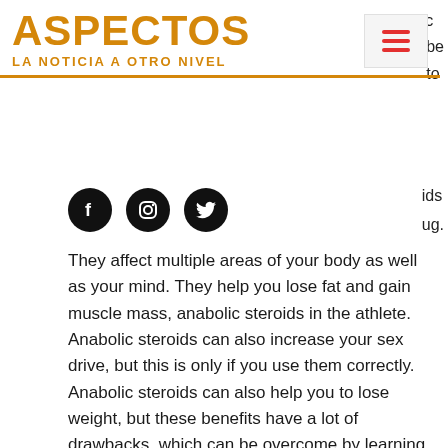ASPECTOS
LA NOTICIA A OTRO NIVEL
[Figure (logo): Social media icons: Facebook, Instagram, Twitter in black circles]
They affect multiple areas of your body as well as your mind. They help you lose fat and gain muscle mass, anabolic steroids in the athlete. Anabolic steroids can also increase your sex drive, but this is only if you use them correctly. Anabolic steroids can also help you to lose weight, but these benefits have a lot of drawbacks, which can be overcome by learning how to use anabolic steroids correctly, anabolic steroids in pune. Click to read more, anabolic steroids in the uk.